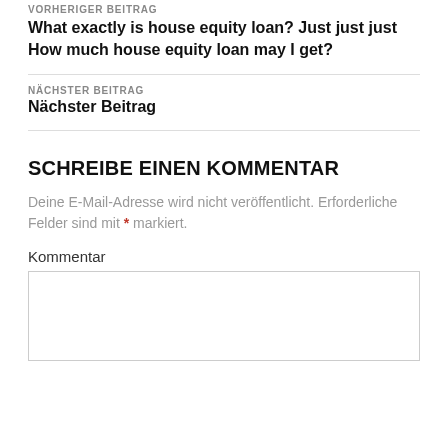VORHERIGER BEITRAG
What exactly is house equity loan? Just just just How much house equity loan may I get?
NÄCHSTER BEITRAG
Nächster Beitrag
SCHREIBE EINEN KOMMENTAR
Deine E-Mail-Adresse wird nicht veröffentlicht. Erforderliche Felder sind mit * markiert.
Kommentar